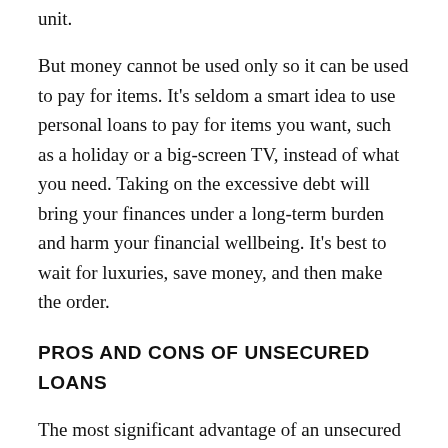unit.
But money cannot be used only so it can be used to pay for items. It's seldom a smart idea to use personal loans to pay for items you want, such as a holiday or a big-screen TV, instead of what you need. Taking on the excessive debt will bring your finances under a long-term burden and harm your financial wellbeing. It's best to wait for luxuries, save money, and then make the order.
PROS AND CONS OF UNSECURED LOANS
The most significant advantage of an unsecured loan is the reduction in liability from the borrower's perspective. You should not risk losing your savings if you take an unsecured loan and can't afford payments; you just put your credit record at risk. For individuals and firms with unsecured debts, once you apply for bankruptcy, there is even a risk that the mortgage will be forgiven.